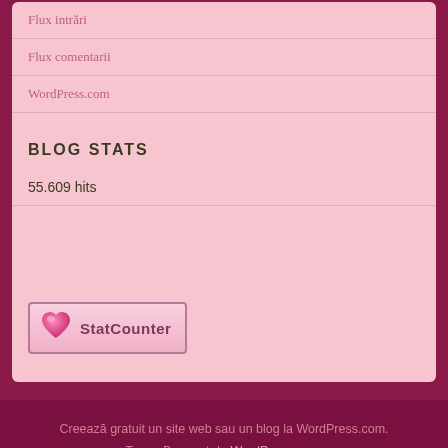Flux intrări
Flux comentarii
WordPress.com
BLOG STATS
55.609 hits
[Figure (logo): StatCounter button with pink heart logo and text 'StatCounter']
Creează gratuit un site web sau un blog la WordPress.com.
Tema: Bouquet de WordPress.com.